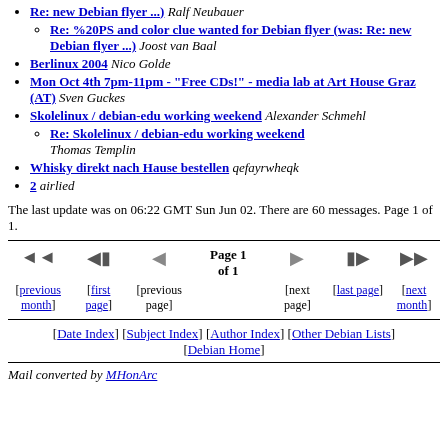Re: new Debian flyer ...) Ralf Neubauer
Re: %20PS and color clue wanted for Debian flyer (was: Re: new Debian flyer ...) Joost van Baal
Berlinux 2004 Nico Golde
Mon Oct 4th 7pm-11pm - "Free CDs!" - media lab at Art House Graz (AT) Sven Guckes
Skolelinux / debian-edu working weekend Alexander Schmehl
Re: Skolelinux / debian-edu working weekend Thomas Templin
Whisky direkt nach Hause bestellen qefayrwheqk
2 airlied
The last update was on 06:22 GMT Sun Jun 02. There are 60 messages. Page 1 of 1.
[Figure (other): Navigation bar with previous month, first page, previous page, Page 1 of 1, next page, last page, next month controls]
[Date Index] [Subject Index] [Author Index] [Other Debian Lists] [Debian Home]
Mail converted by MHonArc